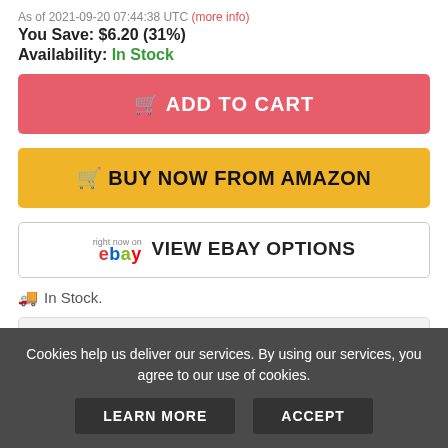As of 2021-09-20 07:44:38 UTC (more info)
You Save: $6.20 (31%)
Availability: In Stock
🛒 ADD TO CART
🛒 BUY NOW FROM AMAZON
ebay VIEW EBAY OPTIONS
🚚 In Stock.
PRODUCT INFORMATION (more info)
📋 View Product Details
Cookies help us deliver our services. By using our services, you agree to our use of cookies. LEARN MORE ACCEPT